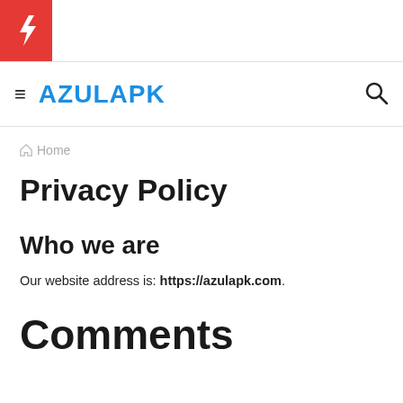AZULAPK
Home
Privacy Policy
Who we are
Our website address is: https://azulapk.com.
Comments